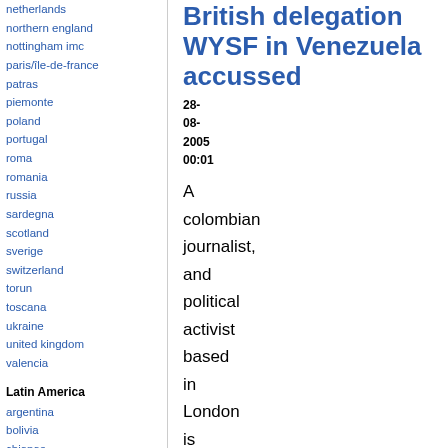netherlands
northern england
nottingham imc
paris/île-de-france
patras
piemonte
poland
portugal
roma
romania
russia
sardegna
scotland
sverige
switzerland
torun
toscana
ukraine
united kingdom
valencia
Latin America
argentina
bolivia
chiapas
chile
chile sur
British delegation WYSF in Venezuela accussed
28-08-2005 00:01
A colombian journalist, and political activist based in London is accussed of paramilitarism when he controverted